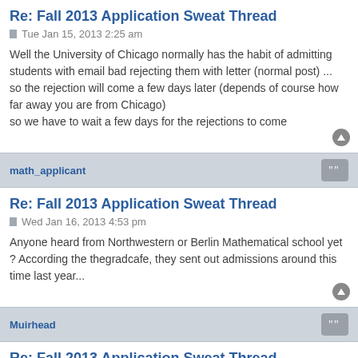Re: Fall 2013 Application Sweat Thread
Tue Jan 15, 2013 2:25 am
Well the University of Chicago normally has the habit of admitting students with email bad rejecting them with letter (normal post) ...
so the rejection will come a few days later (depends of course how far away you are from Chicago)
so we have to wait a few days for the rejections to come
math_applicant
Re: Fall 2013 Application Sweat Thread
Wed Jan 16, 2013 4:53 pm
Anyone heard from Northwestern or Berlin Mathematical school yet ? According the thegradcafe, they sent out admissions around this time last year...
Muirhead
Re: Fall 2013 Application Sweat Thread
Wed Jan 16, 2013 8:18 pm